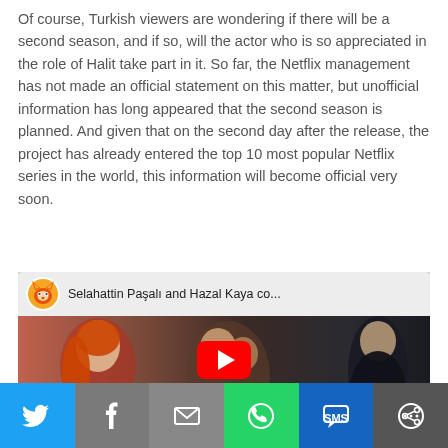Of course, Turkish viewers are wondering if there will be a second season, and if so, will the actor who is so appreciated in the role of Halit take part in it. So far, the Netflix management has not made an official statement on this matter, but unofficial information has long appeared that the second season is planned. And given that on the second day after the release, the project has already entered the top 10 most popular Netflix series in the world, this information will become official very soon.
[Figure (screenshot): YouTube video thumbnail showing 'Selahattin Paşalı and Hazal Kaya co...' with a fox logo, a smiling woman with red hair on the left, a couple in the center, and a young man in a black jacket on the right. A red YouTube play button is centered on the image.]
[Figure (infographic): Social media sharing bar with six buttons: Twitter (blue), Facebook (gray), Email (gray), WhatsApp (green), SMS (dark blue), and More/Share (dark gray). Each button shows a white icon.]